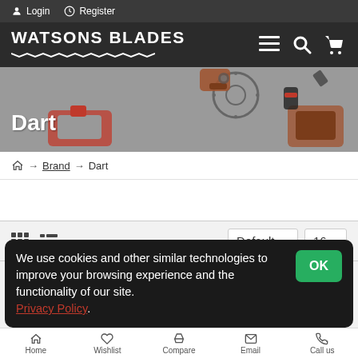Login  Register
[Figure (screenshot): Watsons Blades navigation bar with logo, hamburger menu, search and cart icons]
[Figure (photo): Hero banner showing Dart brand with scattered power tool illustrations on gray background]
Dart
Home → Brand → Dart
[Figure (screenshot): Sort/filter bar with grid and list view icons, Default dropdown, and 16 items per page dropdown]
We use cookies and other similar technologies to improve your browsing experience and the functionality of our site. Privacy Policy.
Home  Wishlist  Compare  Email  Call us